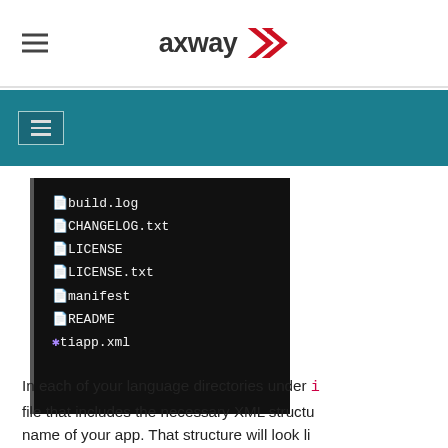[Figure (logo): Axway logo with red chevron/arrow icon and bold 'axway' text]
[Figure (screenshot): Dark terminal/file-browser screenshot showing files: build.log, CHANGELOG.txt, LICENSE, LICENSE.txt, manifest, README, tiapp.xml]
In each of your language directories under i file that includes the necessary XML structu name of your app. That structure will look li